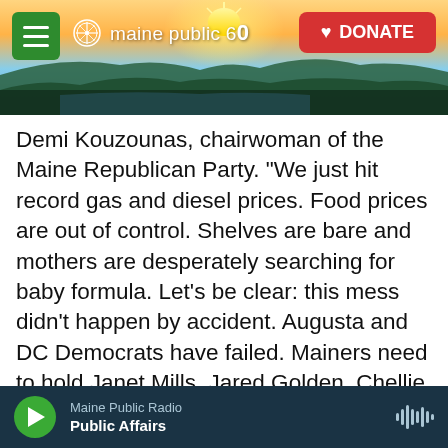[Figure (screenshot): Maine Public Radio website header with landscape/sunset background photo, hamburger menu button, Maine Public 60 logo, and red DONATE button]
Demi Kouzounas, chairwoman of the Maine Republican Party. “We just hit record gas and diesel prices. Food prices are out of control. Shelves are bare and mothers are desperately searching for baby formula. Let’s be clear: this mess didn’t happen by accident. Augusta and DC Democrats have failed. Mainers need to hold Janet Mills, Jared Golden, Chellie Pingree, and Democrats in the legislature accountable. They are responsible for the direction of this state and country. They have failed."
The Republicans pressed on despite the
Maine Public Radio | Public Affairs